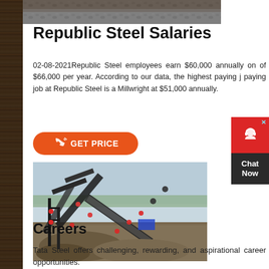[Figure (photo): Partial top image of gravel or stone material (cropped from top)]
Republic Steel Salaries
02-08-2021Republic Steel employees earn $60,000 annually on of $66,000 per year. According to our data, the highest paying j paying job at Republic Steel is a Millwright at $51,000 annually.
[Figure (other): Orange 'GET PRICE' button with phone icon]
[Figure (photo): Industrial steel conveyor belts and machinery at a steel/mining plant with gravel piles]
Careers
Tata Steel offers challenging, rewarding, and aspirational career opportunities.